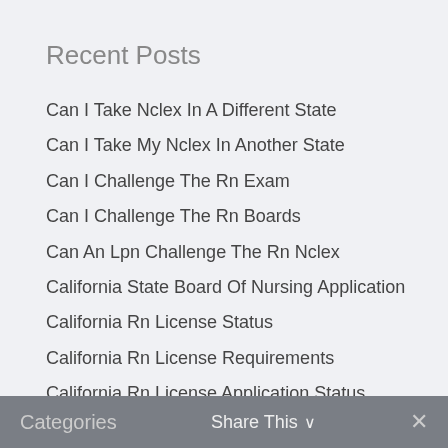Recent Posts
Can I Take Nclex In A Different State
Can I Take My Nclex In Another State
Can I Challenge The Rn Exam
Can I Challenge The Rn Boards
Can An Lpn Challenge The Rn Nclex
California State Board Of Nursing Application
California Rn License Status
California Rn License Requirements
California Rn License Application Status
California Rn License Application
Categories   Share This ∨   ✕